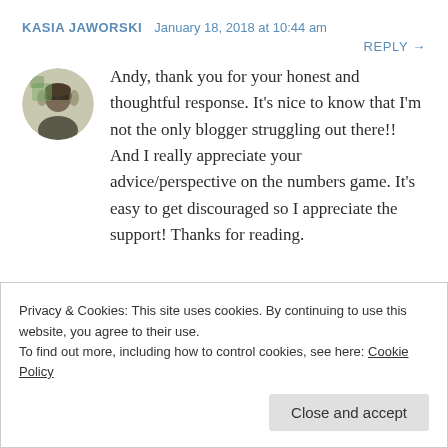KASIA JAWORSKI  January 18, 2018 at 10:44 am
REPLY →
[Figure (photo): Circular avatar photo of a person outdoors with sunglasses]
Andy, thank you for your honest and thoughtful response. It's nice to know that I'm not the only blogger struggling out there!! And I really appreciate your advice/perspective on the numbers game. It's easy to get discouraged so I appreciate the support! Thanks for reading.
Privacy & Cookies: This site uses cookies. By continuing to use this website, you agree to their use.
To find out more, including how to control cookies, see here: Cookie Policy
Close and accept